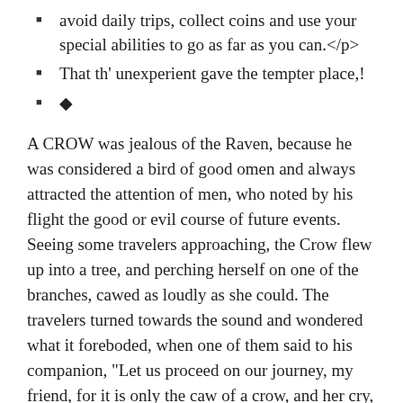avoid daily trips, collect coins and use your special abilities to go as far as you can.</p>
That th' unexperient gave the tempter place,!
◆
A CROW was jealous of the Raven, because he was considered a bird of good omen and always attracted the attention of men, who noted by his flight the good or evil course of future events. Seeing some travelers approaching, the Crow flew up into a tree, and perching herself on one of the branches, cawed as loudly as she could. The travelers turned towards the sound and wondered what it foreboded, when one of them said to his companion, "Let us proceed on our journey, my friend, for it is only the caw of a crow, and her cry, you know, is no omen."◆